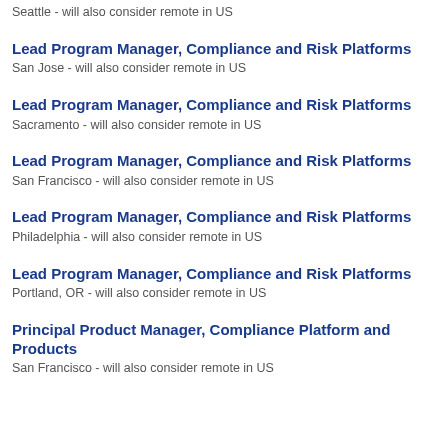Seattle - will also consider remote in US
Lead Program Manager, Compliance and Risk Platforms
San Jose - will also consider remote in US
Lead Program Manager, Compliance and Risk Platforms
Sacramento - will also consider remote in US
Lead Program Manager, Compliance and Risk Platforms
San Francisco - will also consider remote in US
Lead Program Manager, Compliance and Risk Platforms
Philadelphia - will also consider remote in US
Lead Program Manager, Compliance and Risk Platforms
Portland, OR - will also consider remote in US
Principal Product Manager, Compliance Platform and Products
San Francisco - will also consider remote in US